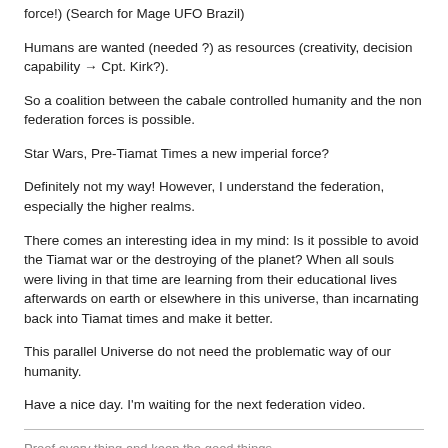force!) (Search for Mage UFO Brazil)
Humans are wanted (needed ?) as resources (creativity, decision capability → Cpt. Kirk?).
So a coalition between the cabale controlled humanity and the non federation forces is possible.
Star Wars, Pre-Tiamat Times a new imperial force?
Definitely not my way! However, I understand the federation, especially the higher realms.
There comes an interesting idea in my mind: Is it possible to avoid the Tiamat war or the destroying of the planet? When all souls were living in that time are learning from their educational lives afterwards on earth or elsewhere in this universe, than incarnating back into Tiamat times and make it better.
This parallel Universe do not need the problematic way of our humanity.
Have a nice day. I'm waiting for the next federation video.
Proof every thing and keep the good things.